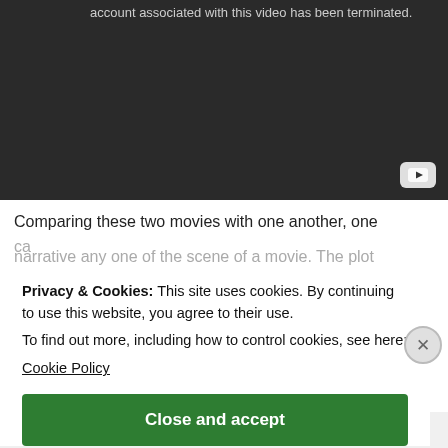[Figure (screenshot): Dark YouTube video player showing error message: account associated with this video has been terminated.]
Comparing these two movies with one another, one can narrative any one of the scene of a movie. The plot of both movies concern with three different versions of an event, and as the plot of a movie includes the on
Privacy & Cookies: This site uses cookies. By continuing to use this website, you agree to their use.
To find out more, including how to control cookies, see here:
Cookie Policy
Close and accept
Post on the go.